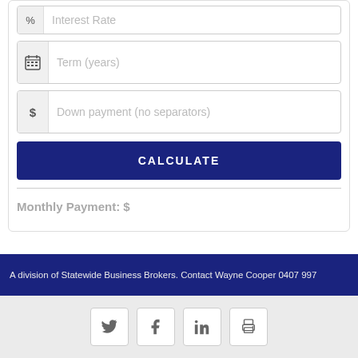[Figure (screenshot): Form input field showing Interest Rate with % icon, partially visible at top]
[Figure (screenshot): Form input field showing Term (years) with calendar icon]
[Figure (screenshot): Form input field showing Down payment (no separators) with $ icon]
CALCULATE
Monthly Payment: $
A division of Statewide Business Brokers. Contact Wayne Cooper 0407 997
[Figure (screenshot): Social media icons: Twitter, Facebook, LinkedIn, Print]